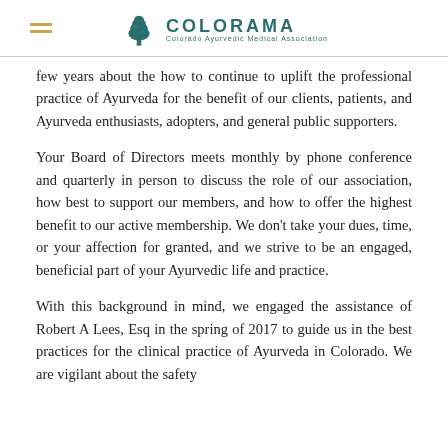COLORAMA — Colorado Ayurvedic Medical Association
few years about the how to continue to uplift the professional practice of Ayurveda for the benefit of our clients, patients, and Ayurveda enthusiasts, adopters, and general public supporters.
Your Board of Directors meets monthly by phone conference and quarterly in person to discuss the role of our association, how best to support our members, and how to offer the highest benefit to our active membership. We don't take your dues, time, or your affection for granted, and we strive to be an engaged, beneficial part of your Ayurvedic life and practice.
With this background in mind, we engaged the assistance of Robert A Lees, Esq in the spring of 2017 to guide us in the best practices for the clinical practice of Ayurveda in Colorado. We are vigilant about the safety